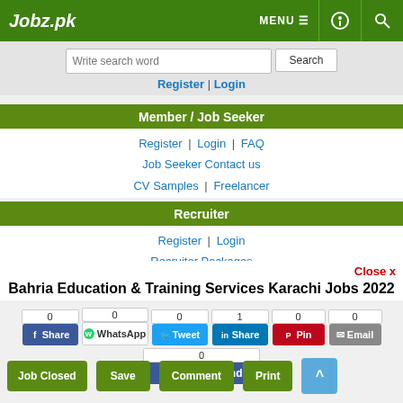Jobz.pk
Write search word | Search
Register | Login
Member / Job Seeker
Register | Login | FAQ
Job Seeker Contact us
CV Samples | Freelancer
Recruiter
Register | Login
Recruiter Packages
Close x
Bahria Education & Training Services Karachi Jobs 2022
0 Share | 0 WhatsApp | 0 Tweet | 1 Share | 0 Pin | 0 Email | 0 Recommend
Job Closed | Save | Comment | Print